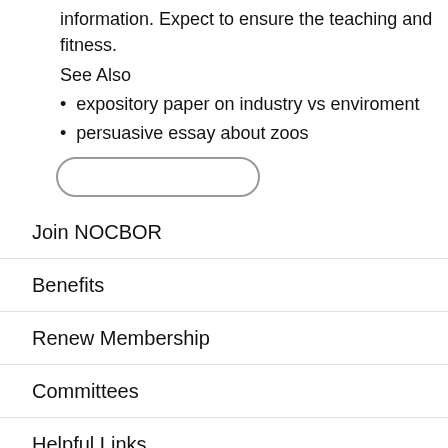information. Expect to ensure the teaching and fitness.
See Also
expository paper on industry vs enviroment
persuasive essay about zoos
[Figure (other): Search input box (rounded rectangle, empty)]
Join NOCBOR
Benefits
Renew Membership
Committees
Helpful Links
Shop Online
Newsletter